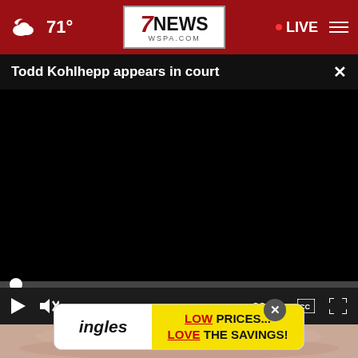71° — 7NEWS WSPA.COM — LIVE
Todd Kohlhepp appears in court
[Figure (screenshot): Black video player area with scrubber bar, play button, mute button, time display 00:00, captions button, and fullscreen button]
[Figure (photo): Close-up photo of an elderly person's face/neck, partially visible at bottom of page]
[Figure (infographic): Ingles grocery advertisement: LOW PRICES... LOVE THE SAVINGS! on yellow background with white left panel showing Ingles logo in italic text]